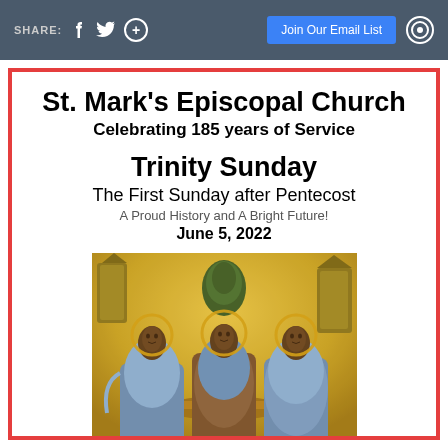SHARE: f  [twitter]  (+)  |  Join Our Email List  [icon]
St. Mark's Episcopal Church
Celebrating 185 years of Service
Trinity Sunday
The First Sunday after Pentecost
A Proud History and A Bright Future!
June 5, 2022
[Figure (illustration): Byzantine-style icon depicting three angelic figures (the Holy Trinity / Rublev's Trinity) seated at a table, with golden background, halos, and robes in blue and earth tones]